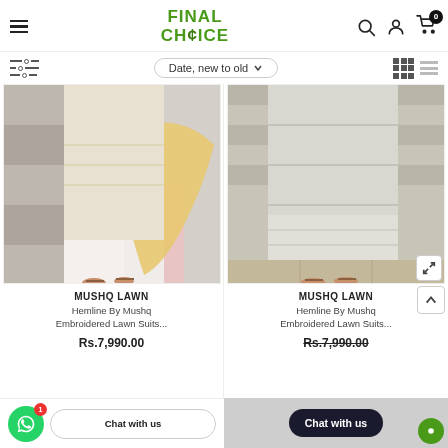Final Choice - Online Shopping
Date, new to old
[Figure (photo): Clothing product photo: woman wearing embroidered lawn suit with yellow dupatta, pink lower, mosaic tile background]
MUSHQ LAWN
Hemline By Mushq Embroidered Lawn Suits..
Rs.7,990.00
[Figure (photo): Clothing product photo: woman wearing grey/white embroidered lawn suit, striped background]
MUSHQ LAWN
Hemline By Mushq Embroidered Lawn Suits..
Rs.7,990.00
Chat with us